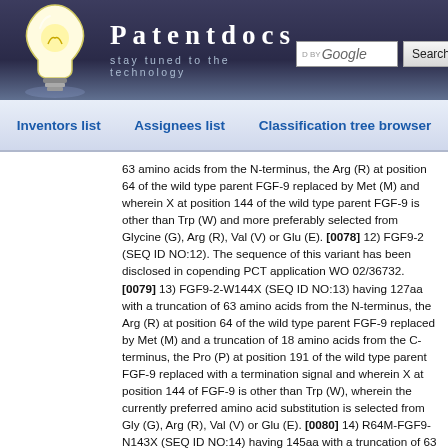Patentdocs — stay tuned to the technology
Inventors list
Assignees list
Classification tree browser
63 amino acids from the N-terminus, the Arg (R) at position 64 of the wild type parent FGF-9 replaced by Met (M) and wherein X at position 144 of the wild type parent FGF-9 is other than Trp (W) and more preferably selected from Glycine (G), Arg (R), Val (V) or Glu (E). [0078] 12) FGF9-2 (SEQ ID NO:12). The sequence of this variant has been disclosed in copending PCT application WO 02/36732. [0079] 13) FGF9-2-W144X (SEQ ID NO:13) having 127aa with a truncation of 63 amino acids from the N-terminus, the Arg (R) at position 64 of the wild type parent FGF-9 replaced by Met (M) and a truncation of 18 amino acids from the C-terminus, the Pro (P) at position 191 of the wild type parent FGF-9 replaced with a termination signal and wherein X at position 144 of FGF-9 is other than Trp (W), wherein the currently preferred amino acid substitution is selected from Gly (G), Arg (R), Val (V) or Glu (E). [0080] 14) R64M-FGF9-N143X (SEQ ID NO:14) having 145aa with a truncation of 63 amino acids from the N-terminus, the Arg (R) at position 64 of the wild type parent